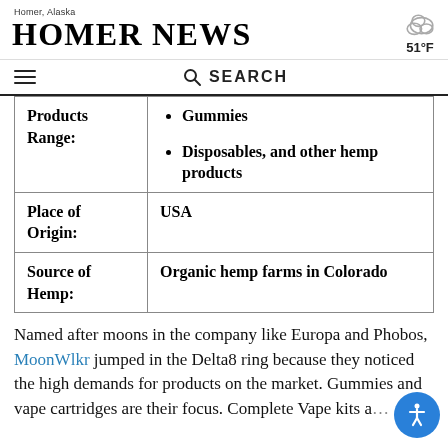Homer, Alaska — HOMER NEWS — 51°F
| Products Range: | Gummies
Disposables, and other hemp products |
| Place of Origin: | USA |
| Source of Hemp: | Organic hemp farms in Colorado |
Named after moons in the company like Europa and Phobos, MoonWlkr jumped in the Delta8 ring because they noticed the high demands for products on the market. Gummies and vape cartridges are their focus. Complete Vape kits a…